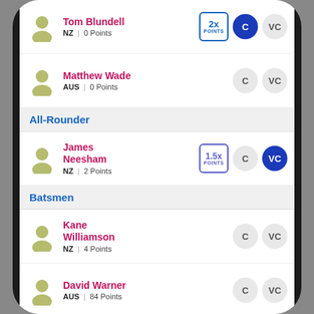Tom Blundell | NZ | 0 Points | 2x POINTS | C (selected) | VC
Matthew Wade | AUS | 0 Points | C | VC
All-Rounder
James Neesham | NZ | 2 Points | 1.5x POINTS | C | VC (selected)
Batsmen
Kane Williamson | NZ | 4 Points | C | VC
David Warner | AUS | 84 Points | C | VC
Aaron Finch | AUS | 75 Points | C | VC